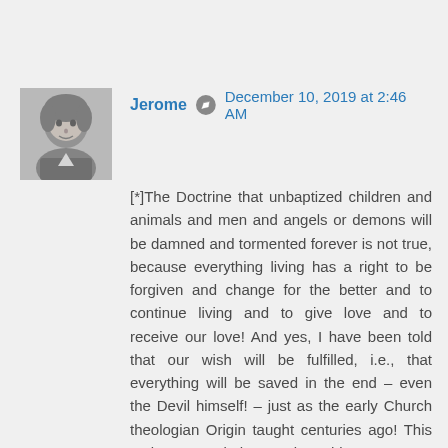[Figure (photo): Black and white avatar photo of a young child]
Jerome  December 10, 2019 at 2:46 AM
[*]The Doctrine that unbaptized children and animals and men and angels or demons will be damned and tormented forever is not true, because everything living has a right to be forgiven and change for the better and to continue living and to give love and to receive our love! And yes, I have been told that our wish will be fulfilled, i.e., that everything will be saved in the end – even the Devil himself! – just as the early Church theologian Origin taught centuries ago! This makes me truly happy since this means true justice and love (that desires forgiveness and love towards others) not only exists on the Earth, but also in Heaven!, and that this injustice of eternal hate, separation, torment and damnation will be overcome and beaten, and not become a tragic fact actually happening to our loved ones. I mean, how could anyone live or exist happy in Heaven when seeing billions and